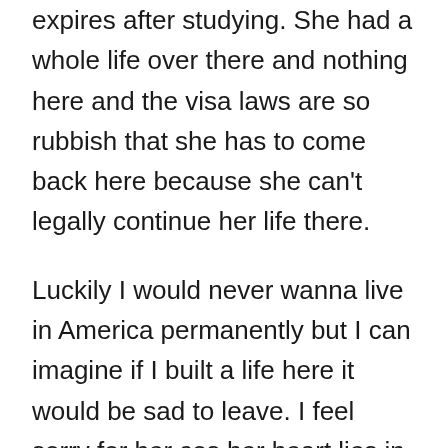expires after studying. She had a whole life over there and nothing here and the visa laws are so rubbish that she has to come back here because she can't legally continue her life there.
Luckily I would never wanna live in America permanently but I can imagine if I built a life here it would be sad to leave. I feel sorry for her cos her heart lies in France and she speaks fluent French now because she was there for so long. I can imagine how it must feel.
We had some drinks afterwards and I met